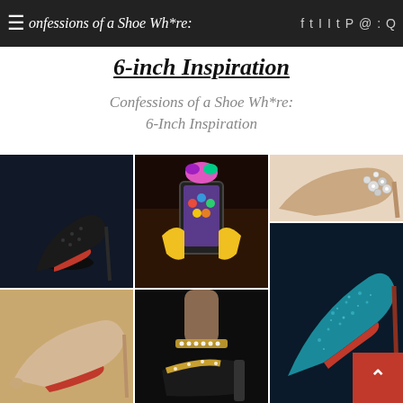≡ Confessions of a Shoe Wh*re: [social icons] 🔍
6-inch Inspiration
Confessions of a Shoe Wh*re:
6-Inch Inspiration
[Figure (photo): Collage of six shoe and fashion photos: top-left spiked black Christian Louboutin heel on dark background; top-center party selfie with colorful accessories; top-right nude peep-toe with jeweled embellishment; bottom-left nude pointed-toe pump with red sole; bottom-center strappy crystal-embellished high sandal; bottom-right teal glitter Louboutin pump on red sole.]